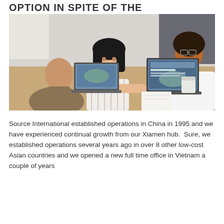OPTION IN SPITE OF THE CHALLENGES
[Figure (photo): Three people in a business meeting around a table with laptops; a woman with dark hair in the center is turned toward the camera smiling, a bald man on the left laughing, and a woman with natural hair on the right smiling.]
Source International established operations in China in 1995 and we have experienced continual growth from our Xiamen hub.  Sure, we established operations several years ago in over 8 other low-cost Asian countries and we opened a new full time office in Vietnam a couple of years